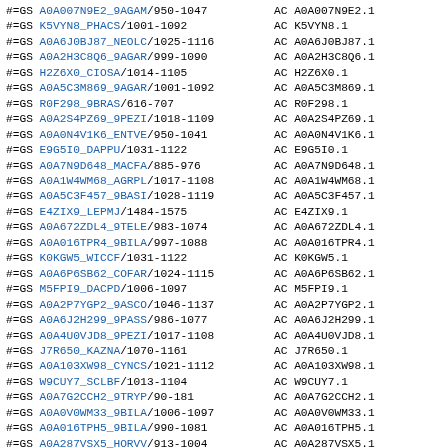#=GS A0A007N9E2_9AGAM/950-1047   AC A0A007N9E2.1
#=GS K5VYN8_PHACS/1001-1092   AC K5VYN8.1
#=GS A0A6J0BJ87_NEOLC/1025-1116   AC A0A6J0BJ87.1
#=GS A0A2H3C8Q6_9AGAR/999-1090   AC A0A2H3C8Q6.1
#=GS H2Z6X0_CIOSA/1014-1105   AC H2Z6X0.1
#=GS A0A5C3M869_9AGAR/1001-1092   AC A0A5C3M869.1
#=GS R0F298_9BRAS/616-707   AC R0F298.1
#=GS A0A2S4PZ69_9PEZI/1018-1109   AC A0A2S4PZ69.1
#=GS A0A0N4V1K6_ENTVE/950-1041   AC A0A0N4V1K6.1
#=GS E9G5I0_DAPPU/1031-1122   AC E9G5I0.1
#=GS A0A7N9D648_MACFA/885-976   AC A0A7N9D648.1
#=GS A0A1W4WM68_AGRPL/1017-1108   AC A0A1W4WM68.1
#=GS A0A5C3F457_9BASI/1028-1119   AC A0A5C3F457.1
#=GS E4ZIX9_LEPMJ/1484-1575   AC E4ZIX9.1
#=GS A0A672ZDL4_9TELE/983-1074   AC A0A672ZDL4.1
#=GS A0A016TPR4_9BILA/997-1088   AC A0A016TPR4.1
#=GS K0KGW5_WICCF/1031-1122   AC K0KGW5.1
#=GS A0A6P6SB62_COFAR/1024-1115   AC A0A6P6SB62.1
#=GS M5FPI9_DACPD/1006-1097   AC M5FPI9.1
#=GS A0A2P7YGP2_9ASCO/1046-1137   AC A0A2P7YGP2.1
#=GS A0A6J2H299_9PASS/986-1077   AC A0A6J2H299.1
#=GS A0A4U0VJD8_9PEZI/1017-1108   AC A0A4U0VJD8.1
#=GS J7R650_KAZNA/1070-1161   AC J7R650.1
#=GS A0A103XW98_CYNCS/1021-1112   AC A0A103XW98.1
#=GS W9CUY7_SCLBF/1013-1104   AC W9CUY7.1
#=GS A0A7G2CCH2_9TRYP/90-181   AC A0A7G2CCH2.1
#=GS A0A0V0WM33_9BILA/1006-1097   AC A0A0V0WM33.1
#=GS A0A016TPH5_9BILA/990-1081   AC A0A016TPH5.1
#=GS A0A287VSX5_HORVV/913-1004   AC A0A287VSX5.1
#=GS A0A4U5LNW5_STECR/88-179   AC A0A4U5LNW5.1
#=GS A0A165LWR8_9APHY/1018-1109   AC A0A165LWR8.1
#=GS A0A183NZD6_9TREM/943-1034   AC A0A183NZD6.1
#=GS I2G7R2_TETRL/1080-1171   AC I2G7R2.1